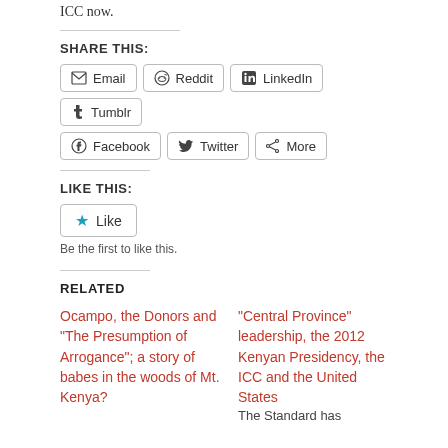ICC now.
SHARE THIS:
Email  Reddit  LinkedIn  Tumblr  Facebook  Twitter  More
LIKE THIS:
Like
Be the first to like this.
RELATED
Ocampo, the Donors and “The Presumption of Arrogance”; a story of babes in the woods of Mt. Kenya?
“Central Province” leadership, the 2012 Kenyan Presidency, the ICC and the United States
The Standard has